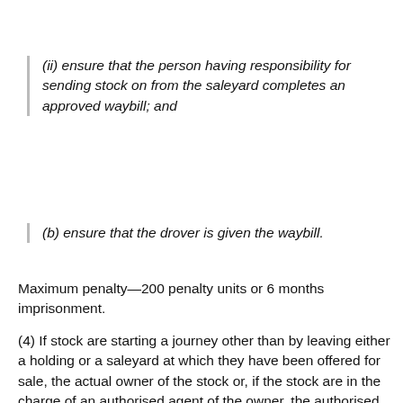(ii) ensure that the person having responsibility for sending stock on from the saleyard completes an approved waybill; and
(b) ensure that the drover is given the waybill.
Maximum penalty—200 penalty units or 6 months imprisonment.
(4) If stock are starting a journey other than by leaving either a holding or a saleyard at which they have been offered for sale, the actual owner of the stock or, if the stock are in the charge of an authorised agent of the owner, the authorised